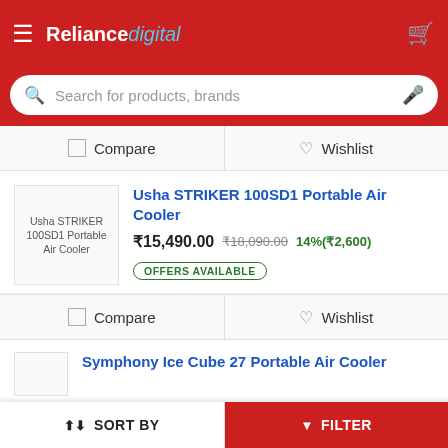Reliance digital
Search for products, brands
Compare   Wishlist
[Figure (screenshot): Product thumbnail for Usha STRIKER 100SD1 Portable Air Cooler]
Usha STRIKER 100SD1 Portable Air Cooler  ₹15,490.00  ₹18,090.00  14%(₹2,600)  OFFERS AVAILABLE
Compare   Wishlist
Symphony Ice Cube 27 Portable Air Cooler
SORT BY   FILTER